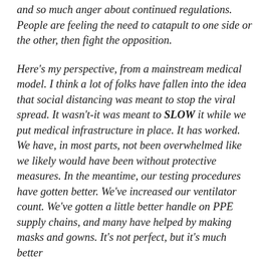and so much anger about continued regulations. People are feeling the need to catapult to one side or the other, then fight the opposition.
Here's my perspective, from a mainstream medical model. I think a lot of folks have fallen into the idea that social distancing was meant to stop the viral spread. It wasn't-it was meant to SLOW it while we put medical infrastructure in place. It has worked. We have, in most parts, not been overwhelmed like we likely would have been without protective measures. In the meantime, our testing procedures have gotten better. We've increased our ventilator count. We've gotten a little better handle on PPE supply chains, and many have helped by making masks and gowns. It's not perfect, but it's much better